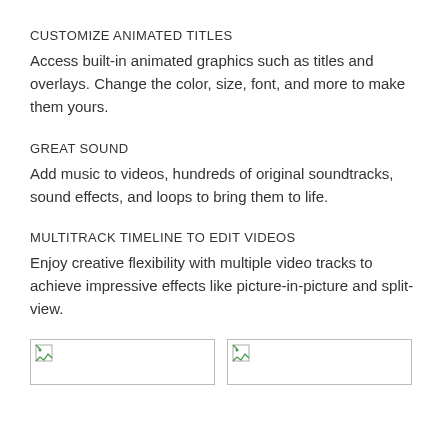CUSTOMIZE ANIMATED TITLES
Access built-in animated graphics such as titles and overlays. Change the color, size, font, and more to make them yours.
GREAT SOUND
Add music to videos, hundreds of original soundtracks, sound effects, and loops to bring them to life.
MULTITRACK TIMELINE TO EDIT VIDEOS
Enjoy creative flexibility with multiple video tracks to achieve impressive effects like picture-in-picture and split-view.
[Figure (other): Two broken/placeholder image boxes side by side]
[Figure (other): Second broken/placeholder image box]